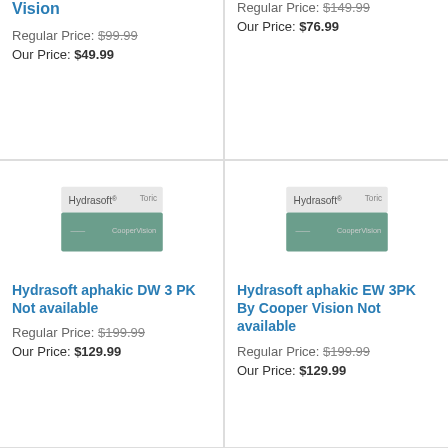Vision
Regular Price: $99.99
Our Price: $49.99
Regular Price: $149.99
Our Price: $76.99
[Figure (photo): Hydrasoft Toric contact lens box by CooperVision]
Hydrasoft aphakic DW 3 PK Not available
Regular Price: $199.99
Our Price: $129.99
[Figure (photo): Hydrasoft Toric contact lens box by CooperVision]
Hydrasoft aphakic EW 3PK By Cooper Vision Not available
Regular Price: $199.99
Our Price: $129.99
[Figure (photo): Small contact lens solution jar/container]
[Figure (photo): Small contact lens solution jar/container]